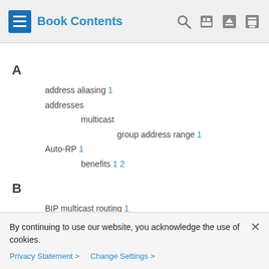Book Contents
A
address aliasing 1
addresses
multicast
group address range 1
Auto-RP 1
benefits 1 2
B
BIP multicast routing 1
bootstrap router (BSR), described 1
BSRs
candidate 1
By continuing to use our website, you acknowledge the use of cookies.
Privacy Statement > Change Settings >